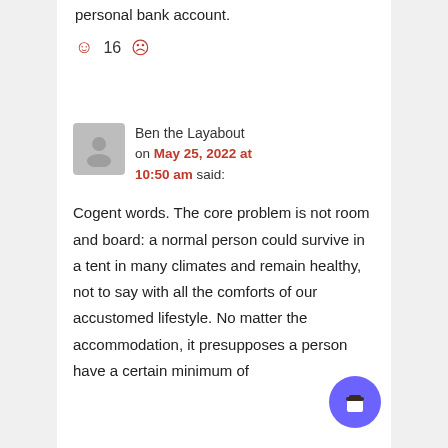personal bank account.
☺ 16 ☹
Ben the Layabout on May 25, 2022 at 10:50 am said:
Cogent words. The core problem is not room and board: a normal person could survive in a tent in many climates and remain healthy, not to say with all the comforts of our accustomed lifestyle. No matter the accommodation, it presupposes a person have a certain minimum of